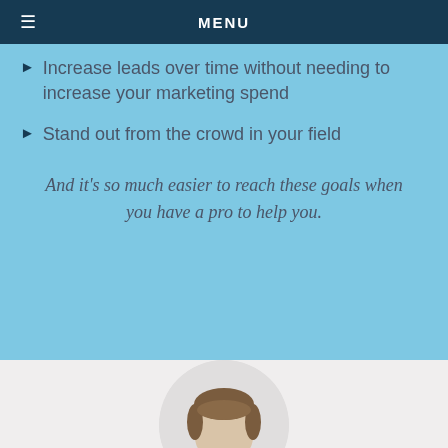MENU
Increase leads over time without needing to increase your marketing spend
Stand out from the crowd in your field
And it's so much easier to reach these goals when you have a pro to help you.
[Figure (photo): Circular cropped headshot photo of a man with brown hair, shown from the top of head, positioned at bottom center of the page on a light gray background]